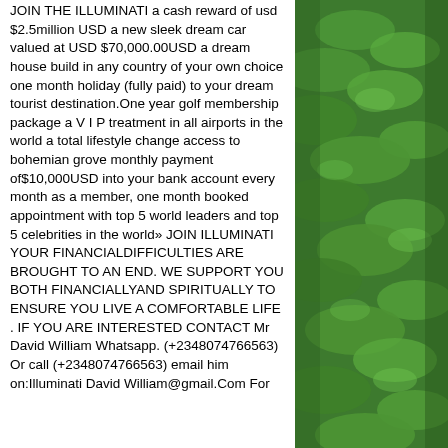JOIN THE ILLUMINATI a cash reward of usd $2.5million USD a new sleek dream car valued at USD $70,000.00USD a dream house build in any country of your own choice one month holiday (fully paid) to your dream tourist destination.One year golf membership package a V I P treatment in all airports in the world a total lifestyle change access to bohemian grove monthly payment of$10,000USD into your bank account every month as a member, one month booked appointment with top 5 world leaders and top 5 celebrities in the world» JOIN ILLUMINATI YOUR FINANCIALDIFFICULTIES ARE BROUGHT TO AN END. WE SUPPORT YOU BOTH FINANCIALLYAND SPIRITUALLY TO ENSURE YOU LIVE A COMFORTABLE LIFE . IF YOU ARE INTERESTED CONTACT Mr David William Whatsapp. (+2348074766563) Or call (+2348074766563) email him on:Illuminati David William@gmail.Com For
[Figure (photo): Green leafy plants/foliage photograph on the right side of the page]